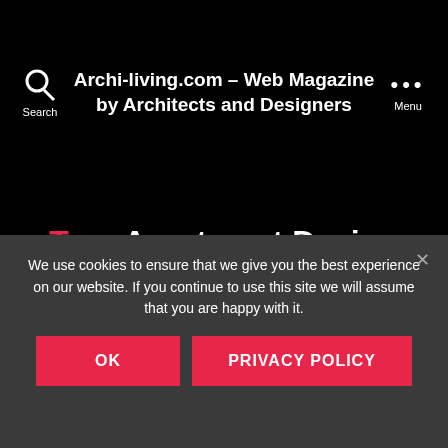Archi-living.com – Web Magazine by Architects and Designers
Tag: Apartment Design
ARCHI-WORLD
We use cookies to ensure that we give you the best experience on our website. If you continue to use this site we will assume that you are happy with it.
OK   PRIVACY POLICY